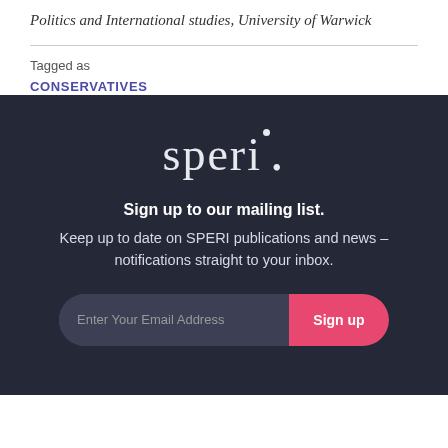Politics and International studies, University of Warwick
Tagged as
CONSERVATIVES
[Figure (logo): SPERI logo in white text on dark navy background, with a small circular dot above the letter i]
Sign up to our mailing list. Keep up to date on SPERI publications and news – notifications straight to your inbox.